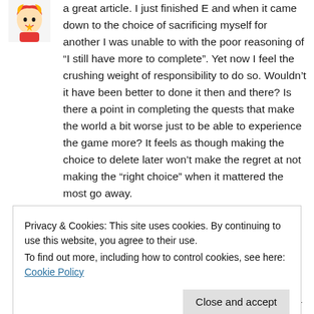[Figure (illustration): Small avatar image of an anime-style character with red/yellow color scheme]
a great article. I just finished E and when it came down to the choice of sacrificing myself for another I was unable to with the poor reasoning of “I still have more to complete”. Yet now I feel the crushing weight of responsibility to do so. Wouldn’t it have been better to done it then and there? Is there a point in completing the quests that make the world a bit worse just to be able to experience the game more? It feels as though making the choice to delete later won’t make the regret at not making the “right choice” when it mattered the most go away.
Privacy & Cookies: This site uses cookies. By continuing to use this website, you agree to their use.
To find out more, including how to control cookies, see here: Cookie Policy
Close and accept
something I haven't felt or experienced from other